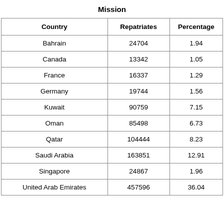Mission
| Country | Repatriates | Percentage |
| --- | --- | --- |
| Bahrain | 24704 | 1.94 |
| Canada | 13342 | 1.05 |
| France | 16337 | 1.29 |
| Germany | 19744 | 1.56 |
| Kuwait | 90759 | 7.15 |
| Oman | 85498 | 6.73 |
| Qatar | 104444 | 8.23 |
| Saudi Arabia | 163851 | 12.91 |
| Singapore | 24867 | 1.96 |
| United Arab Emirates | 457596 | 36.04 |